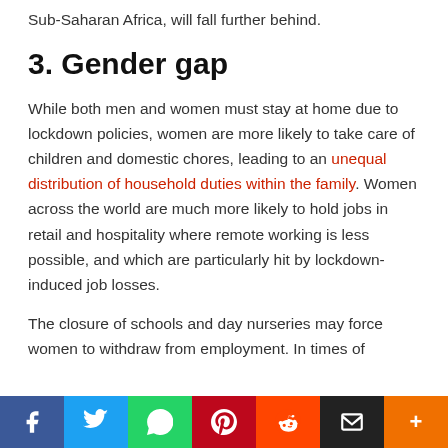Sub-Saharan Africa, will fall further behind.
3. Gender gap
While both men and women must stay at home due to lockdown policies, women are more likely to take care of children and domestic chores, leading to an unequal distribution of household duties within the family. Women across the world are much more likely to hold jobs in retail and hospitality where remote working is less possible, and which are particularly hit by lockdown-induced job losses.
The closure of schools and day nurseries may force women to withdraw from employment. In times of
f  [twitter]  [whatsapp]  [pinterest]  [reddit]  [email]  +